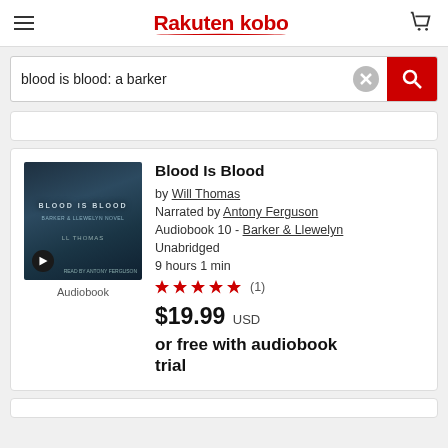Rakuten kobo
blood is blood: a barker
Blood Is Blood
by Will Thomas
Narrated by Antony Ferguson
Audiobook 10 - Barker & Llewelyn
Unabridged
9 hours 1 min
(1)
$19.99 USD
or free with audiobook trial